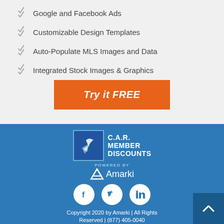Google and Facebook Ads
Customizable Design Templates
Auto-Populate MLS Images and Data
Integrated Stock Images & Graphics
Try it FREE
[Figure (logo): C.A.R. Member Discounts logo with blue bird/eagle graphic, powered by Amarki logo below]
[Figure (logo): Social media icons: Facebook, Twitter, LinkedIn in white circles on blue background]
Copyright 2020 by Amarki | All Rights Reserved | (877) 405-0040